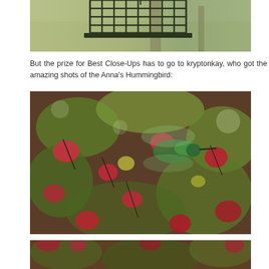[Figure (photo): Top portion of a bird feeder (metal grid/cage) hanging, with blurred outdoor background of trees and foliage.]
But the prize for Best Close-Ups has to go to kryptonkay, who got the amazing shots of the Anna's Hummingbird:
[Figure (photo): Close-up photograph of an Anna's Hummingbird among red and green flowering plants/foliage, taken by kryptonkay.]
[Figure (photo): Bottom portion of another close-up photograph of an Anna's Hummingbird among red flowers and green foliage, partially visible at the bottom of the page.]